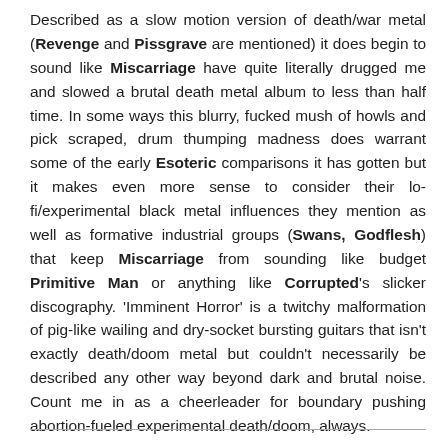Described as a slow motion version of death/war metal (Revenge and Pissgrave are mentioned) it does begin to sound like Miscarriage have quite literally drugged me and slowed a brutal death metal album to less than half time. In some ways this blurry, fucked mush of howls and pick scraped, drum thumping madness does warrant some of the early Esoteric comparisons it has gotten but it makes even more sense to consider their lo-fi/experimental black metal influences they mention as well as formative industrial groups (Swans, Godflesh) that keep Miscarriage from sounding like budget Primitive Man or anything like Corrupted's slicker discography. 'Imminent Horror' is a twitchy malformation of pig-like wailing and dry-socket bursting guitars that isn't exactly death/doom metal but couldn't necessarily be described any other way beyond dark and brutal noise. Count me in as a cheerleader for boundary pushing abortion-fueled experimental death/doom, always.